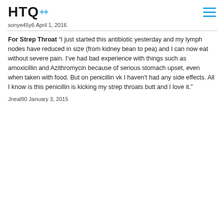HTQ
sonye45y6 April 1, 2016
For Strep Throat “I just started this antibiotic yesterday and my lymph nodes have reduced in size (from kidney bean to pea) and I can now eat without severe pain. I’ve had bad experience with things such as amoxicillin and Azithromycin because of serious stomach upset, even when taken with food. But on penicillin vk I haven't had any side effects. All I know is this penicillin is kicking my strep throats butt and I love it.”
Jneal90 January 3, 2015